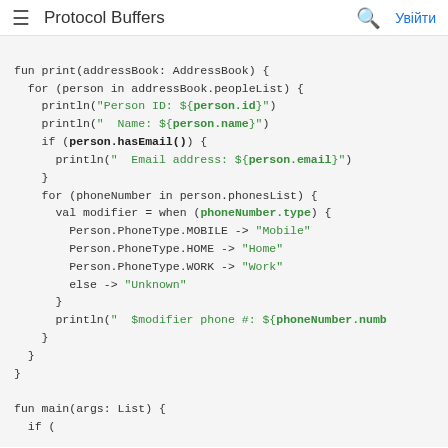Protocol Buffers
fun print(addressBook: AddressBook) {
  for (person in addressBook.peopleList) {
    println("Person ID: ${person.id}")
    println("  Name: ${person.name}")
    if (person.hasEmail()) {
      println("  Email address: ${person.email}")
    }
    for (phoneNumber in person.phonesList) {
      val modifier = when (phoneNumber.type) {
        Person.PhoneType.MOBILE -> "Mobile"
        Person.PhoneType.HOME -> "Home"
        Person.PhoneType.WORK -> "Work"
        else -> "Unknown"
      }
      println("  $modifier phone #: ${phoneNumber.numb")
    }
  }
}

fun main(args: List) {
  if (